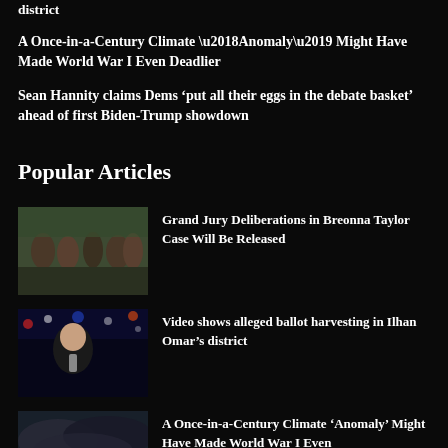district
A Once-in-a-Century Climate ‘Anomaly’ Might Have Made World War I Even Deadlier
Sean Hannity claims Dems ‘put all their eggs in the debate basket’ ahead of first Biden-Trump showdown
Popular Articles
[Figure (photo): Crowd of people at a protest or gathering outdoors]
Grand Jury Deliberations in Breonna Taylor Case Will Be Released
[Figure (photo): Man in suit against dark city background with lights]
Video shows alleged ballot harvesting in Ilhan Omar’s district
[Figure (photo): Dark stormy sky scene]
A Once-in-a-Century Climate ‘Anomaly’ Might Have Made World War I Even